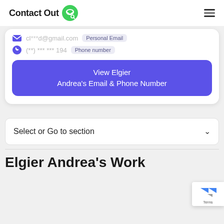Contact Out
cl***d@gmail.com  Personal Email
(**) *** *** 194  Phone number
View Elgier Andrea's Email & Phone Number
Select or Go to section
Elgier Andrea's Work